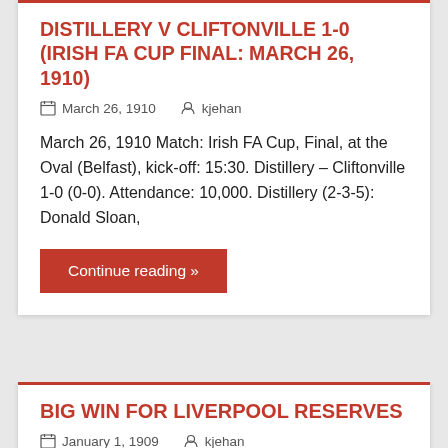DISTILLERY V CLIFTONVILLE 1-0 (IRISH FA CUP FINAL: MARCH 26, 1910)
March 26, 1910   kjehan
March 26, 1910 Match: Irish FA Cup, Final, at the Oval (Belfast), kick-off: 15:30. Distillery – Cliftonville 1-0 (0-0). Attendance: 10,000. Distillery (2-3-5): Donald Sloan,
Continue reading »
BIG WIN FOR LIVERPOOL RESERVES
January 1, 1909   kjehan
January 1, 1909 Liverpool Reserves v Southport